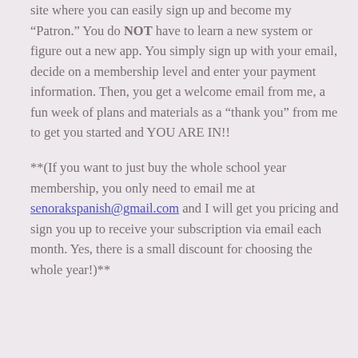site where you can easily sign up and become my “Patron.” You do NOT have to learn a new system or figure out a new app. You simply sign up with your email, decide on a membership level and enter your payment information. Then, you get a welcome email from me, a fun week of plans and materials as a “thank you” from me to get you started and YOU ARE IN!!
**(If you want to just buy the whole school year membership, you only need to email me at senorakspanish@gmail.com and I will get you pricing and sign you up to receive your subscription via email each month. Yes, there is a small discount for choosing the whole year!)**